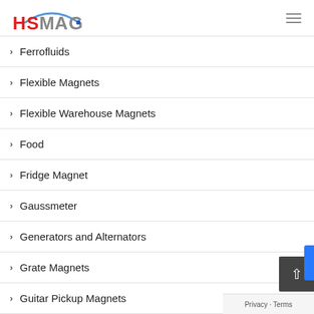HSMAG
Ferrofluids
Flexible Magnets
Flexible Warehouse Magnets
Food
Fridge Magnet
Gaussmeter
Generators and Alternators
Grate Magnets
Guitar Pickup Magnets